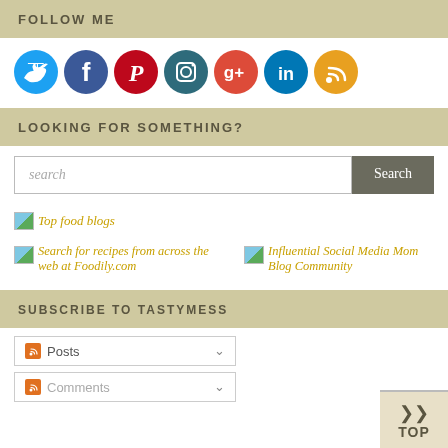FOLLOW ME
[Figure (illustration): Row of 7 social media icons: Twitter (blue), Facebook (dark blue), Pinterest (red), Instagram (dark teal), Google+ (red-orange), LinkedIn (blue), RSS (gold/yellow), all circular]
LOOKING FOR SOMETHING?
[Figure (screenshot): Search input field with placeholder text 'search' and a dark gray 'Search' button]
[Figure (illustration): Small image placeholder icon followed by italic golden text 'Top food blogs']
[Figure (illustration): Two badge links side by side: 'Search for recipes from across the web at Foodily.com' and 'Influential Social Media Mom Blog Community', both in italic golden text with small image placeholders]
SUBSCRIBE TO TASTYMESS
[Figure (screenshot): Two subscribe dropdown rows: 'Posts' and 'Comments' with RSS icons and dropdown arrows]
[Figure (illustration): TOP button in bottom right corner with double chevron up arrow]